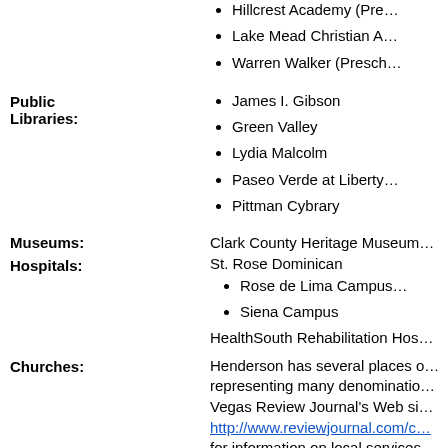Hillcrest Academy (Pre…
Lake Mead Christian A…
Warren Walker (Presc…
James I. Gibson
Green Valley
Lydia Malcolm
Paseo Verde at Liberty…
Pittman Cybrary
Museums: Clark County Heritage Museum…
Hospitals: St. Rose Dominican
Rose de Lima Campus…
Siena Campus
HealthSouth Rehabilitation Hos…
Churches: Henderson has several places … representing many denominatio… Vegas Review Journal's Web si… http://www.reviewjournal.com/c… for information on local services…